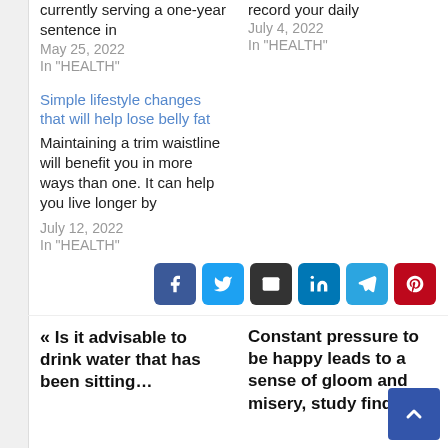currently serving a one-year sentence in
record your daily
May 25, 2022
In "HEALTH"
July 4, 2022
In "HEALTH"
Simple lifestyle changes that will help lose belly fat
Maintaining a trim waistline will benefit you in more ways than one. It can help you live longer by
July 12, 2022
In "HEALTH"
[Figure (infographic): Social share buttons: Facebook, Twitter, Email, LinkedIn, Telegram, Pinterest]
« Is it advisable to drink water that has been sitting…
Constant pressure to be happy leads to a sense of gloom and misery, study finds »